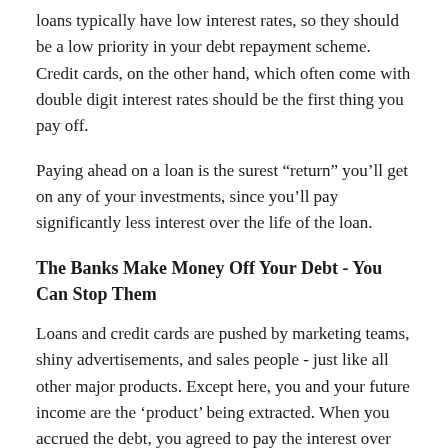loans typically have low interest rates, so they should be a low priority in your debt repayment scheme. Credit cards, on the other hand, which often come with double digit interest rates should be the first thing you pay off.
Paying ahead on a loan is the surest “return” you’ll get on any of your investments, since you’ll pay significantly less interest over the life of the loan.
The Banks Make Money Off Your Debt - You Can Stop Them
Loans and credit cards are pushed by marketing teams, shiny advertisements, and sales people - just like all other major products. Except here, you and your future income are the ‘product’ being extracted. When you accrued the debt, you agreed to pay the interest over the life of the loan. When you pay ahead on the loan, assuming there are no prepayment penalties, you lock in that return. No matter what happens to the stock market, inflation, election cycles, etc, you have guaranteed yourself that return. Guaranteed returns are basically impossible